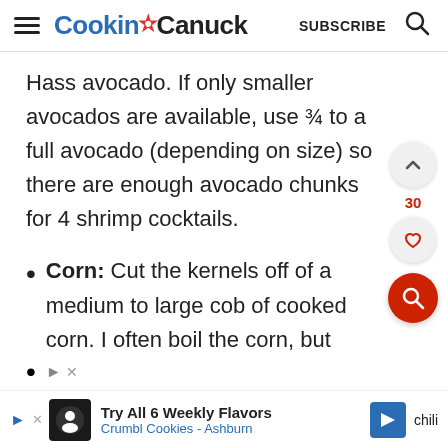Cookin' Canuck  SUBSCRIBE
Hass avocado. If only smaller avocados are available, use ¾ to a full avocado (depending on size) so there are enough avocado chunks for 4 shrimp cocktails.
Corn: Cut the kernels off of a medium to large cob of cooked corn. I often boil the corn, but grilled corn adds even more flavor.
[Figure (other): Advertisement banner: Try All 6 Weekly Flavors - Crumbl Cookies - Ashburn]